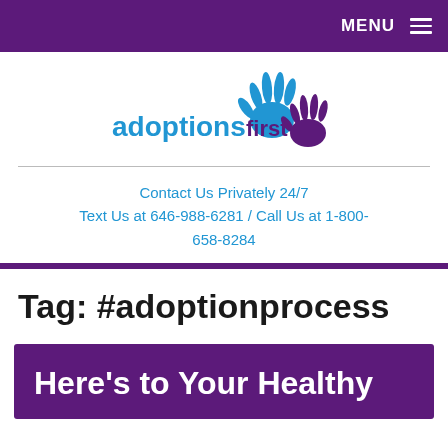MENU
[Figure (logo): Adoptions First logo with blue and purple hand prints and blue text 'adoptionsfirst']
Contact Us Privately 24/7
Text Us at 646-988-6281 / Call Us at 1-800-658-8284
Tag: #adoptionprocess
Here's to Your Healthy